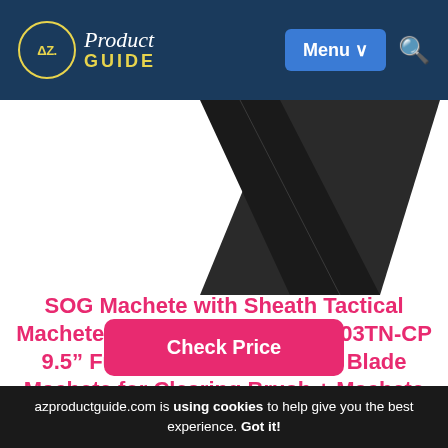AZ Product Guide — Menu — Search
[Figure (photo): Partial view of a dark/black machete blade against a white background]
SOG Machete with Sheath Tactical Machete – “Jungle Primitive” F03TN-CP 9.5” Full Tang Machete Knife Blade Machete for Clearing Brush + Machete Sheath
Check Price
azproductguide.com is using cookies to help give you the best experience. Got it!